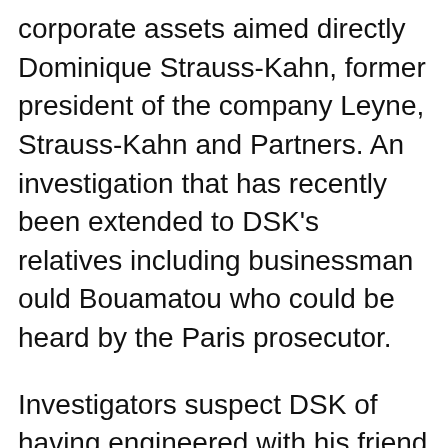corporate assets aimed directly Dominique Strauss-Kahn, former president of the company Leyne, Strauss-Kahn and Partners. An investigation that has recently been extended to DSK's relatives including businessman ould Bouamatou who could be heard by the Paris prosecutor.
Investigators suspect DSK of having engineered with his friend Bouamatou, yet investor in the company LSK bankruptcy of it.
After the affair of the profit of it...